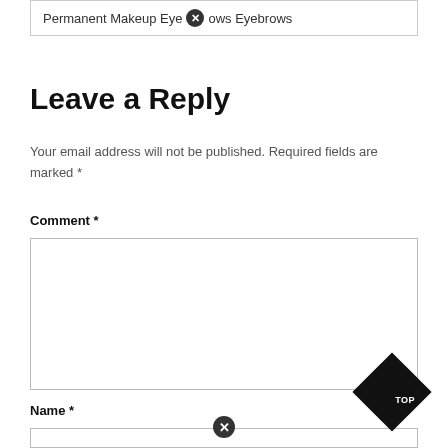Permanent Makeup Eyebrows Eyebrows
Leave a Reply
Your email address will not be published. Required fields are marked *
Comment *
Name *